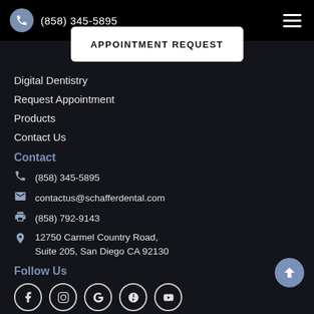(858) 345-5895
APPOINTMENT REQUEST
Digital Dentistry
Request Appointment
Products
Contact Us
Contact
(858) 345-5895
contactus@schafferdental.com
(858) 792-9143
12750 Carmel Country Road, Suite 205, San Diego CA 92130
Follow Us
[Figure (other): Social media icons: Facebook, Instagram, Google, Yelp, YouTube]